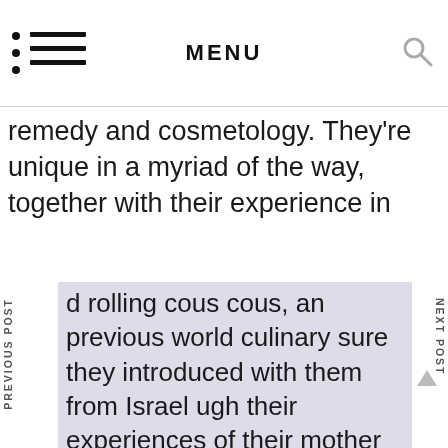MENU
remedy and cosmetology. They’re unique in a myriad of the way, together with their experience in
d rolling cous cous, an previous world culinary sure they introduced with them from Israel ugh their experiences of their mother and father e kitchens.
ences education business urance financila job staffing agency HR
Our trusted delivery companies can save your company time and money. Syrian chef and writer, Jennifer Abadi is instructing a 2 part vegetarian